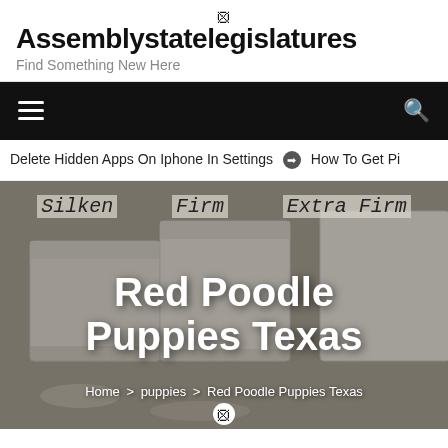Assemblystatelegislatures – Find Something New Here
Delete Hidden Apps On Iphone In Settings  ➔  How To Get Pi
[Figure (photo): Hero image showing blocks of tofu labeled Silken, Firm, and Extra Firm, with overlaid text 'Red Poodle Puppies Texas' and breadcrumb navigation 'Home > puppies > Red Poodle Puppies Texas']